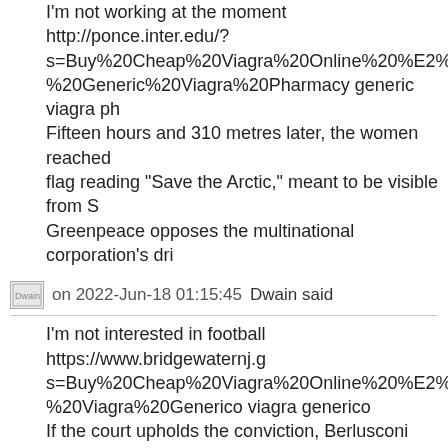I'm not working at the moment http://ponce.inter.edu/?s=Buy%20Cheap%20Viagra%20Online%20%E2%AD%20%20%20%20%20%20%20%20%20%20%20%20%20%20%20%20%20%20%20%20%20%20%20%20%20%20%20%20%20%20%20%20%20%20%20%20%20%20%20%20%20%20%20%20%20%20%20%20%20%20%20%20%20%20%20%20%20%20%20%20%20%20%20%20%20%20%20%20%20%20%20%20%20%20%20%20%20%20%20%20%20%20%20%20%20%20%20%20%20%20%20%20%20%20%20%20%20%20%20%20%20%20%20%20%20%20%20%20%20%20%20%20%20%20%20%20%20%20%20%20%20%20%20%20%20%20%20%20%20%20%20%20%20%20%20%20%20%20%20%20%20%20%20%20%20%20%20%20%20%20%20%20%20%20%20%20%20%20%20%20%20%20%20%20%20%20%20%20%20%20%20%20%20%20%20%20%20%20%20%20%20%20%20%20%20%20%20%20%20%20%20%20%20%20%20%20%20%20%20%20%20%20%20%20%20%20%20%20%20%20%20%20%20%20%20%20%20%20%20%20%20%20%20%20%20%20%20%20%20%20%20%20%20%20%20%20%20%20%20%20%20%20%20%20%20%20%20%20%20%20%20%20%20%20%20%20%20%20%20%20%20%20%20%20%20%20%20%20%20%20%20%20%20%20%20%20%20%20%20%20%20%20%20%20%20%20%20%20%20%20%20%20%20%20%20%20%20%20%20%20%20%20%20%20%20%20%20%20%20%20%20%20%20%20%20%20%20%20%20%20%20%20%20%20%20%20%20%20%20%20%20%20%20%20%20%20%20%20%20%20%20%20%20%20%20%20%20%20%20%20%20%20%20%20%20%20%20%20%20%20%20%20%20%20%20%20%20%20%20%20%20%20%20%20%20%20%20%20%20%20%20%20%20%20%20%20%20%20%20%20%20%20%20%20%20%20%20%20%20%20%20%20%20%20%20%20%20%20%20%20%20%20%20%20%20%20%20%20%20%20%20%20%20%20%20%20%20%20%20%20%20%20%20%20%20%20%20%20%20%20%20%20%20%20%20%20%20%20%20%20%20%20%20%20%20%20%20%20%20%20%20%20%20%20%20%20%20%20%20%20%20%20%20%20%20%20%20%20%20%20%20%20%20%20%20%20%20%20%20%20%20%20%20%20%20%20%20%20%20%20%20%20%20%20%20%20%20%20%20%20%20%20%20%20%20%20%20%20%20%20%20%20%20%20%20%20%20%20%20%20%20%20%20%20%20%20%20%20%20%20%20%20%20%20%20%20%20%20%20%20%20%20%20%20%20%20%20%20%20%20%20%20%20%20%20%20%20%20%20%20%20%20%20%20%20%20%20%20%20%20%20%20%20%20%20%20%20%20%20%20%20%20%20%20%20%20%20%20%20%20%20%20%20%20%20%20%20%20%20%20%20%20%20%20%20%20%20%20%20%20%20%20%20%20%20%20%20%20%20%20%20%20%20%20%20%20%20%20%20%20%20%20%20%20%20%20%20%20%20%20%20%20%20%20%20%20%20%20%20%20%20%20%20%20%20%20%20%20%20%20%20%20%20%20%20%20%20%20%20%20%20%20%20%20%20%20%20%20%20%20%20%20%20%20%20%20%20%20%20%20%20%20%20%20%20%20%20%20%20%20%20%20%20%20%20%20%20%20%20%20%20%20%20%20%20%20%20%20%20%20%20%20%20%20%20%20%20%20%20%20%20%20%20%20%20%20%20%20%20%20%20%20%20%20%20%20%20%20%20%20%20%20%20%20%20%20%20%20%20%20%20%20%20%20%20%20%20%20%20%20%20%20%20%20%20%20%20%20%20%20%20%20%20%20%20%20%20%20%20%20%20%20%20%20%20%20%20%20%20%20%20%20%20%20%20%20%20%20%20%20%20%20%20%20%20%20%20%20%20%20%20%20%20%20%20%20%20%20%20%20%20%20%20%20%20%20%20%20%20%20%20%20%20%20%20%20%20%20%20%20%20%20%20%20%20%20%20%20%20%20%20%20%20%20%20%20%20%20%20%20%20%20%20%20%20%20%20%20%20%20%20%20%20%20%20%20%20%20%20%20%20%20%20%20%20%20%20%20%20%20%20%20%20%20%20%20%20%20%20%20%20%20%20%20%20%20%20%20%20%20%20%20%20%20%20%20%20%20%20%20%20%20%20%20%20%20%20%20%20%20%20%20%20%20%20%20%20%20%20%20%20%20%20%20%20%20%20%20%20%20%20%20%20%20%20%20%20%20%20%20%20%20%20%20%20%20%20%20%20%20%20%20%20%20%20%20%20%20%20%20%20%20%20%20%20%20%20%20%20%20%20%20%20%20%20%20%20%20%20%20%20%20%20%20%20%20%20%20%20%20%20%20%20%20%20%20%20%20%20%20%20%20%20%20%20%20%20%20%20%20%20%20%20%20%20%20%20%20%20%20%20%20%20%20%20%20%20%20%20%20%20%20%20%20%20%20%20%20%20%20%20%20%20%20%20%20%20%20%20%20%20%20%20%20%20%20%20%20%20%20%20%20%20%20%20%20%20%20%20%20%20%20%20%20%20%20%20%20%20%20%20%20%20%20%20%20%20%20%20%20%20%20%20%20%20%20%20%20%20%20%20%20%20%20%20%20%20%20%20%20%20%20%20%20%20%20%20%20%20%20%20%20%20%20%20%20%20%20%20%20%20%20%20%20%20%20%20%20%20%20%20%20%20%20%20%20%20%20%20%20%20%20%20%20%20%20%20%20%20%20%20%20%20%20%20%20%20%20%20%20%20%20%20%20%20%20%20%20%20%20%20%20%20%20%20%20%20%20%20%20%20%20%20%20%20%20%20%20%20%20%20%20%20%20%20%20%20%20%20%20%20%20%20%20%20%20%20%20%20%20%20%20%20%20%20%20%20%20%20%20%20%20%20%20%20%20%20%20%20%20%20%20%20%20%20%20%20%20%20%20%20%20%20%20%20%20%20%20%20%20%20%20%20%20%20%20%20%20%20%20%20%20%20%20%20%20%20%20%20%20%20%20%20
Dwain  on 2022-Jun-18 01:15:45 Dwain said
I'm not interested in football https://www.bridgewaternj.g... s=Buy%20Cheap%20Viagra%20Online%20%E2%AD%... %20Viagra%20Generico viagra generico If the court upholds the conviction, Berlusconi will be im... and barred from running for any election. It is unlikely he... would be shaved off in a general amnesty aimed at emp... serve time for short sentences, especially given Berlusc...
Arnulfo  on 2022-Jun-18 01:15:45 Arnulfo said
Cool site goodluck :) http://ponce.inter.edu/?s=Buy%20Cheap%20Viagra%20Online%20%E2%AD%... %20Viagra%20Dr%20Max%20Cena durateston e viagra...